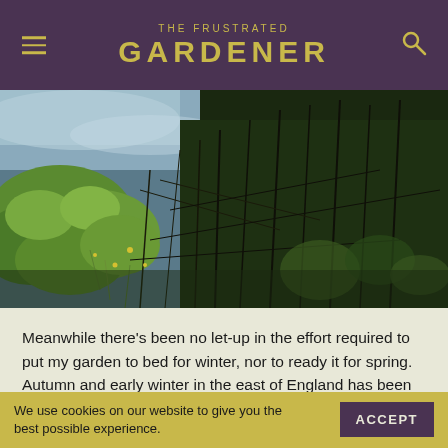THE FRUSTRATED GARDENER
[Figure (photo): Outdoor garden scene showing dense overgrown vegetation including green-leafed plants, tangled bare stems and grasses along what appears to be a waterside embankment, with light glinting off water in the background]
Meanwhile there's been no let-up in the effort required to put my garden to bed for winter, nor to ready it for spring. Autumn and early winter in the east of England has been uncharacteristically wet, yet typically windy and mild. Most of
We use cookies on our website to give you the best possible experience.